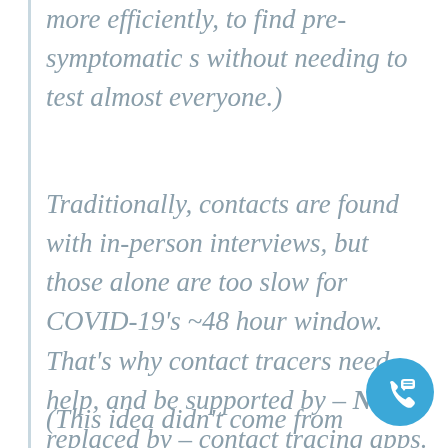more efficiently, to find pre-symptomatic s without needing to test almost everyone.)
Traditionally, contacts are found with in-person interviews, but those alone are too slow for COVID-19's ~48 hour window. That's why contact tracers need help, and be supported by – NOT replaced by – contact tracing apps.
(This idea didn't come from